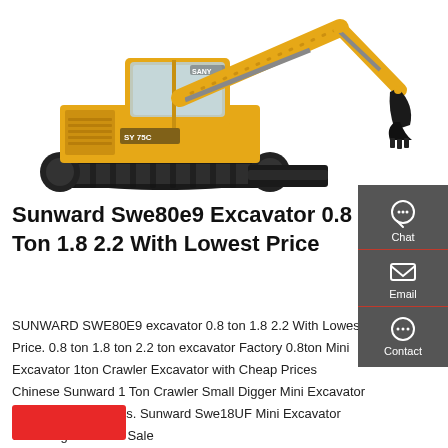[Figure (photo): Yellow SANY/Sunward tracked mini excavator with blade, shown against white background]
Sunward Swe80e9 Excavator 0.8 Ton 1.8 2.2 With Lowest Price
SUNWARD SWE80E9 excavator 0.8 ton 1.8 2.2 With Lowest Price. 0.8 ton 1.8 ton 2.2 ton excavator Factory 0.8ton Mini Excavator 1ton Crawler Excavator with Cheap Prices Chinese Sunward 1 Ton Crawler Small Digger Mini Excavator Price US $499 / Sets. Sunward Swe18UF Mini Excavator with Long Boom for Sale